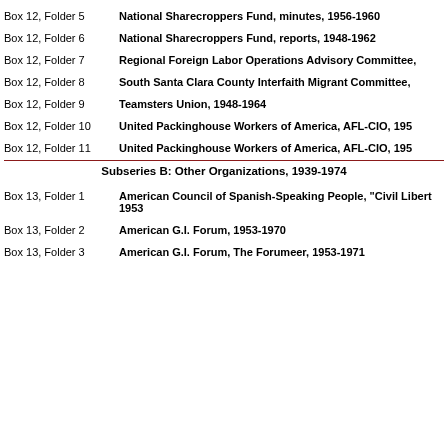Box 12, Folder 5 — National Sharecroppers Fund, minutes, 1956-1960
Box 12, Folder 6 — National Sharecroppers Fund, reports, 1948-1962
Box 12, Folder 7 — Regional Foreign Labor Operations Advisory Committee,
Box 12, Folder 8 — South Santa Clara County Interfaith Migrant Committee,
Box 12, Folder 9 — Teamsters Union, 1948-1964
Box 12, Folder 10 — United Packinghouse Workers of America, AFL-CIO, 195
Box 12, Folder 11 — United Packinghouse Workers of America, AFL-CIO, 195
Subseries B: Other Organizations, 1939-1974
Box 13, Folder 1 — American Council of Spanish-Speaking People, "Civil Libert... 1953
Box 13, Folder 2 — American G.I. Forum, 1953-1970
Box 13, Folder 3 — American G.I. Forum, The Forumeer, 1953-1971